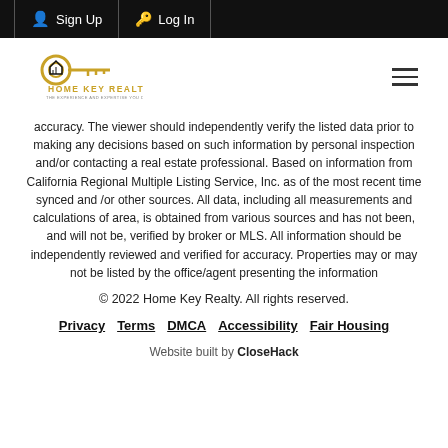Sign Up   Log In
[Figure (logo): Home Key Realty logo with golden key and house icon, text reads HOME KEY REALTY]
accuracy. The viewer should independently verify the listed data prior to making any decisions based on such information by personal inspection and/or contacting a real estate professional. Based on information from California Regional Multiple Listing Service, Inc. as of the most recent time synced and /or other sources. All data, including all measurements and calculations of area, is obtained from various sources and has not been, and will not be, verified by broker or MLS. All information should be independently reviewed and verified for accuracy. Properties may or may not be listed by the office/agent presenting the information
© 2022 Home Key Realty. All rights reserved.
Privacy   Terms   DMCA   Accessibility   Fair Housing
Website built by CloseHack